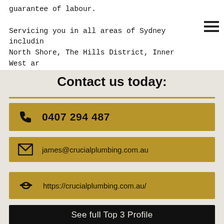guarantee of labour.

Servicing you in all areas of Sydney including North Shore, The Hills District, Inner West and surrounding areas. Contact James today.
Contact us today:
0407 294 487
james@crucialplumbing.com.au
https://crucialplumbing.com.au/
See full Top 3 Profile
What your locals told us